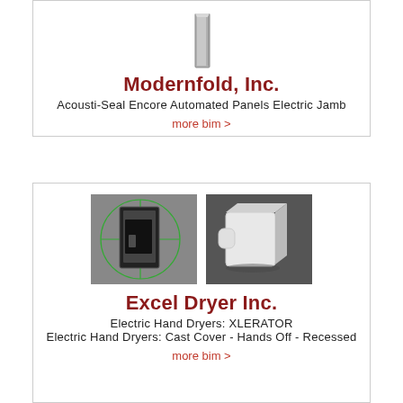[Figure (schematic): 3D rendering of Modernfold Acousti-Seal Encore Automated Panels Electric Jamb - a thin vertical panel element shown in gray]
Modernfold, Inc.
Acousti-Seal Encore Automated Panels Electric Jamb
more bim >
[Figure (schematic): Two 3D renderings: left shows wall-mounted hand dryer unit with green circular reference lines on gray background; right shows a white hand dryer unit in 3D perspective on dark background]
Excel Dryer Inc.
Electric Hand Dryers: XLERATOR
Electric Hand Dryers: Cast Cover - Hands Off - Recessed
more bim >